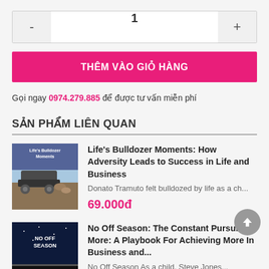- 1 +
THÊM VÀO GIỎ HÀNG
Gọi ngay 0974.279.885 để được tư vấn miễn phí
SẢN PHẨM LIÊN QUAN
[Figure (photo): Book cover for Life's Bulldozer Moments]
Life's Bulldozer Moments: How Adversity Leads to Success in Life and Business
Donato Tramuto felt bulldozed by life as a ch...
69.000đ
[Figure (photo): Book cover for No Off Season]
No Off Season: The Constant Pursuit of More: A Playbook For Achieving More In Business and...
No Off Season As a child, Steve Jones...